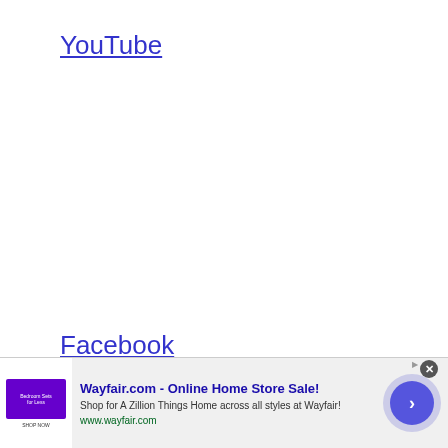YouTube
Facebook
[Figure (screenshot): Advertisement banner for Wayfair.com showing product image, title 'Wayfair.com - Online Home Store Sale!', description text, URL, and a navigation arrow button.]